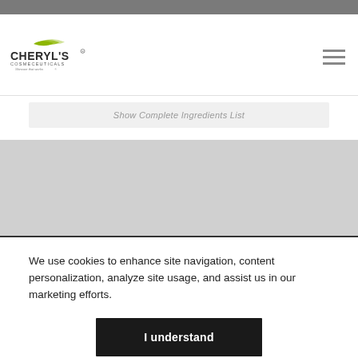Cheryl's Cosmeceuticals – Skincare that works
Show Complete Ingredients List
Step1 : Moisturizing
We use cookies to enhance site navigation, content personalization, analyze site usage, and assist us in our marketing efforts.
I understand